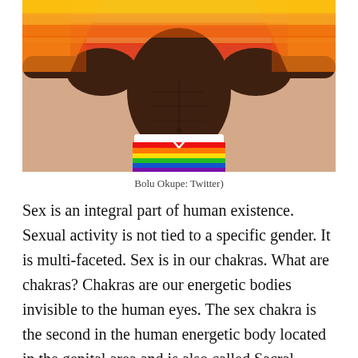[Figure (photo): A muscular dark-skinned man, shirtless, holding a rainbow pride flag spread behind him, wearing rainbow-colored board shorts with a white waistband, posed with arms outstretched.]
Bolu Okupe: Twitter)
Sex is an integral part of human existence. Sexual activity is not tied to a specific gender. It is multi-faceted. Sex is in our chakras. What are chakras? Chakras are our energetic bodies invisible to the human eyes. The sex chakra is the second in the human energetic body located in the genital area and is also called Sacral Chakra.